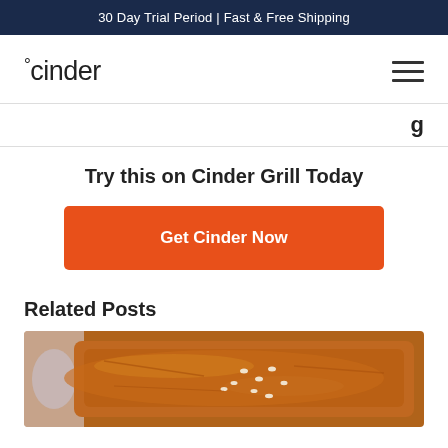30 Day Trial Period | Fast & Free Shipping
[Figure (logo): Cinder brand logo with degree symbol and hamburger menu icon]
g
Try this on Cinder Grill Today
Get Cinder Now
Related Posts
[Figure (photo): Close-up photo of glazed meat with sesame seeds on top, brownish-orange color]